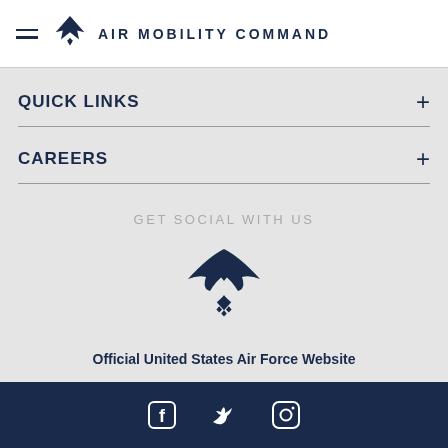AIR MOBILITY COMMAND
QUICK LINKS
CAREERS
GET SOCIAL WITH US
[Figure (logo): US Air Force logo - stylized eagle wings with star emblem]
Official United States Air Force Website
Social media icons: Facebook, Twitter, Instagram